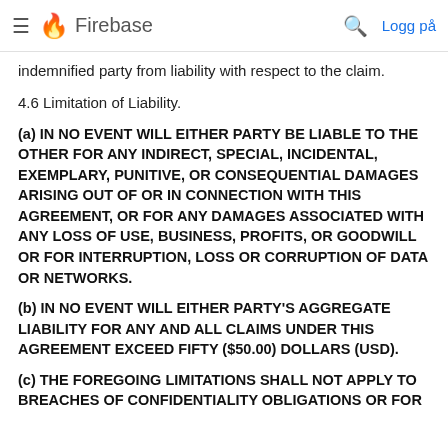≡ 🔥 Firebase 🔍 Logg på
indemnified party from liability with respect to the claim.
4.6 Limitation of Liability.
(a) IN NO EVENT WILL EITHER PARTY BE LIABLE TO THE OTHER FOR ANY INDIRECT, SPECIAL, INCIDENTAL, EXEMPLARY, PUNITIVE, OR CONSEQUENTIAL DAMAGES ARISING OUT OF OR IN CONNECTION WITH THIS AGREEMENT, OR FOR ANY DAMAGES ASSOCIATED WITH ANY LOSS OF USE, BUSINESS, PROFITS, OR GOODWILL OR FOR INTERRUPTION, LOSS OR CORRUPTION OF DATA OR NETWORKS.
(b) IN NO EVENT WILL EITHER PARTY'S AGGREGATE LIABILITY FOR ANY AND ALL CLAIMS UNDER THIS AGREEMENT EXCEED FIFTY ($50.00) DOLLARS (USD).
(c) THE FOREGOING LIMITATIONS SHALL NOT APPLY TO BREACHES OF CONFIDENTIALITY OBLIGATIONS OR FOR